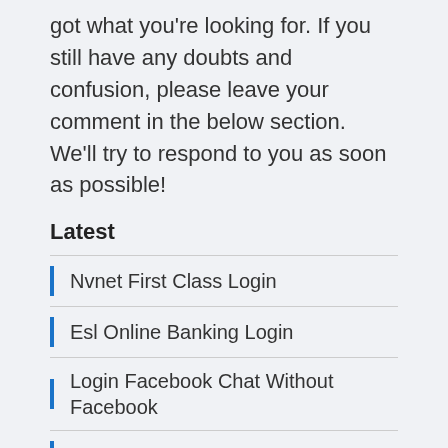got what you're looking for. If you still have any doubts and confusion, please leave your comment in the below section. We'll try to respond to you as soon as possible!
Latest
Nvnet First Class Login
Esl Online Banking Login
Login Facebook Chat Without Facebook
Virgin Account Login Mobile
Verizon 2.0 Email Login
Twc Login And Password